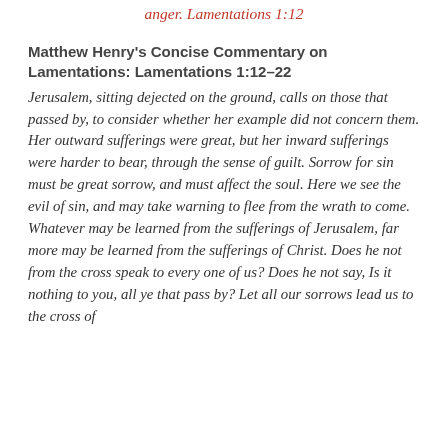anger. Lamentations 1:12
Matthew Henry's Concise Commentary on Lamentations: Lamentations 1:12–22
Jerusalem, sitting dejected on the ground, calls on those that passed by, to consider whether her example did not concern them. Her outward sufferings were great, but her inward sufferings were harder to bear, through the sense of guilt. Sorrow for sin must be great sorrow, and must affect the soul. Here we see the evil of sin, and may take warning to flee from the wrath to come. Whatever may be learned from the sufferings of Jerusalem, far more may be learned from the sufferings of Christ. Does he not from the cross speak to every one of us? Does he not say, Is it nothing to you, all ye that pass by? Let all our sorrows lead us to the cross of